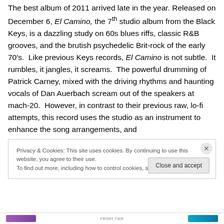The best album of 2011 arrived late in the year. Released on December 6, El Camino, the 7th studio album from the Black Keys, is a dazzling study on 60s blues riffs, classic R&B grooves, and the brutish psychedelic Brit-rock of the early 70's. Like previous Keys records, El Camino is not subtle. It rumbles, it jangles, it screams. The powerful drumming of Patrick Carney, mixed with the driving rhythms and haunting vocals of Dan Auerbach scream out of the speakers at mach-20. However, in contrast to their previous raw, lo-fi attempts, this record uses the studio as an instrument to enhance the song arrangements, and
Privacy & Cookies: This site uses cookies. By continuing to use this website, you agree to their use.
To find out more, including how to control cookies, see here: Cookie Policy